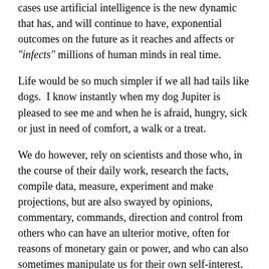cases use artificial intelligence is the new dynamic that has, and will continue to have, exponential outcomes on the future as it reaches and affects or "infects" millions of human minds in real time.
Life would be so much simpler if we all had tails like dogs.  I know instantly when my dog Jupiter is pleased to see me and when he is afraid, hungry, sick or just in need of comfort, a walk or a treat.
We do however, rely on scientists and those who, in the course of their daily work, research the facts, compile data, measure, experiment and make projections, but are also swayed by opinions, commentary, commands, direction and control from others who can have an ulterior motive, often for reasons of monetary gain or power, and who can also sometimes manipulate us for their own self-interest.
Al Gore's name comes to mind: the former US Vice President, author of "An Inconvenient Truth" and the